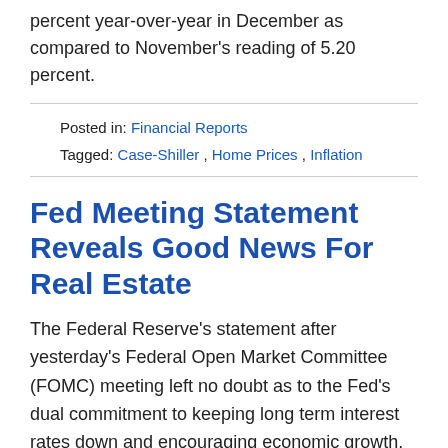percent year-over-year in December as compared to November's reading of 5.20 percent.
Posted in: Financial Reports
Tagged: Case-Shiller, Home Prices, Inflation
Fed Meeting Statement Reveals Good News For Real Estate
The Federal Reserve's statement after yesterday's Federal Open Market Committee (FOMC) meeting left no doubt as to the Fed's dual commitment to keeping long term interest rates down and encouraging economic growth.